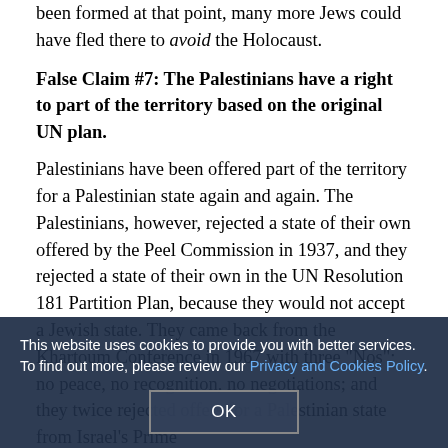been formed at that point, many more Jews could have fled there to avoid the Holocaust.
False Claim #7: The Palestinians have a right to part of the territory based on the original UN plan.
Palestinians have been offered part of the territory for a Palestinian state again and again. The Palestinians, however, rejected a state of their own offered by the Peel Commission in 1937, and they rejected a state of their own in the UN Resolution 181 Partition Plan, because they would not accept a Jewish state. They came back from the Khartoum Conference in 1967 with three "Nos": no peace, no recognition, no negotiations; and they twice rejected offers for a Palestinian state from Israel's Prime Minister Ehud Barak, and later from Israel's Prime Minister Olmert — offers that gave the Palestinians everything the Palestinians demanded. The Palestinians did not even submit a counter offer.
This website uses cookies to provide you with better services. To find out more, please review our Privacy and Cookies Policy.
OK